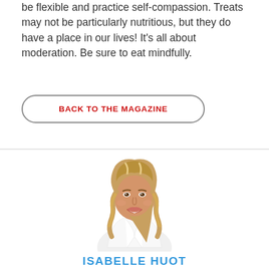be flexible and practice self-compassion. Treats may not be particularly nutritious, but they do have a place in our lives! It's all about moderation. Be sure to eat mindfully.
BACK TO THE MAGAZINE
[Figure (photo): A smiling woman with long blonde wavy hair wearing a white blazer, posed at an angle facing the camera]
ISABELLE HUOT